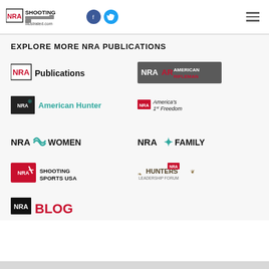[Figure (logo): NRA Shooting Illustrated header logo with social media icons (Facebook, Twitter) and hamburger menu]
EXPLORE MORE NRA PUBLICATIONS
[Figure (logo): NRA Publications logo - red NRA text with Publications]
[Figure (logo): NRA American Rifleman logo - dark grey box with NRA AR and American Rifleman text in red]
[Figure (logo): NRA American Hunter logo - dark box with elk antler graphic and American Hunter text in teal]
[Figure (logo): NRA America's 1st Freedom logo]
[Figure (logo): NRA Women logo - teal wave graphic]
[Figure (logo): NRA Family logo - teal asterisk graphic]
[Figure (logo): NRA Shooting Sports USA logo - red box with figure]
[Figure (logo): Hunters Leadership Forum logo]
[Figure (logo): NRA Blog logo - black box NRA with red BLOG text]